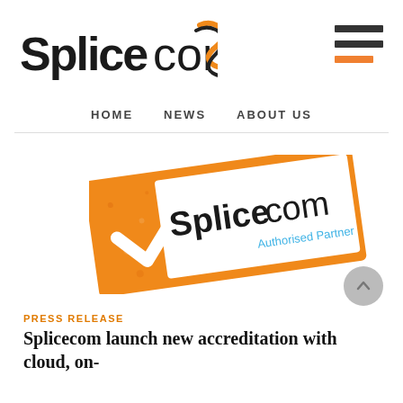Splicecom — navigation: HOME NEWS ABOUT US
[Figure (logo): Splicecom Authorised Partner stamp badge — orange rectangular badge rotated slightly, with a white checkmark on the left and 'Splicecom Authorised Partner' text on the right on white background]
PRESS RELEASE
Splicecom launch new accreditation with cloud, on-